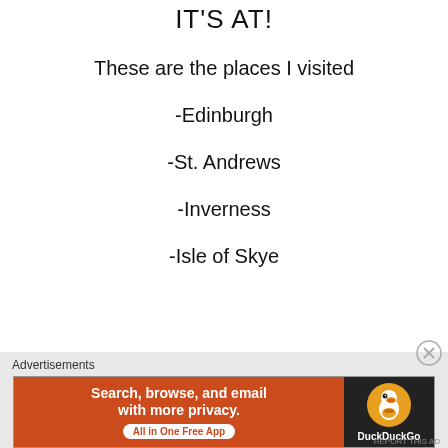IT'S AT!
These are the places I visited
-Edinburgh
-St. Andrews
-Inverness
-Isle of Skye
Advertisements
[Figure (other): DuckDuckGo advertisement banner: orange left panel with text 'Search, browse, and email with more privacy. All in One Free App' and dark right panel with DuckDuckGo duck logo]